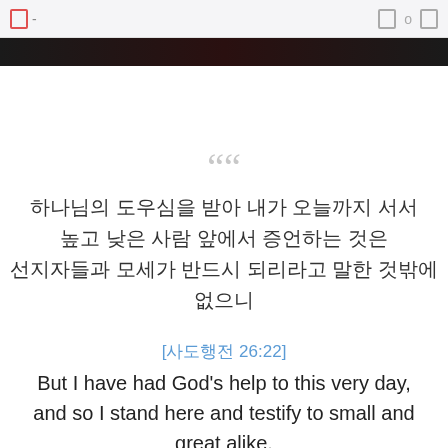□ -   □o □
[Figure (photo): Dark decorative banner image, black to dark red gradient]
““
하나님의 도우심을 받아 내가 오늘까지 서서 높고 낮은 사람 앞에서 증언하는 것은 선지자들과 모세가 반드시 되리라고 말한 것밖에 없으니
[사도행전 26:22]
But I have had God's help to this very day, and so I stand here and testify to small and great alike.